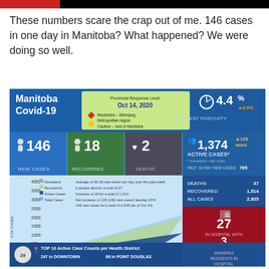These numbers scare the crap out of me. 146 cases in one day in Manitoba? What happened? We were doing so well.
[Figure (infographic): Manitoba Covid-19 infographic dated Oct 14, 2020 showing Provincial Response Level (Restricted – Winnipeg Metropolitan region, Caution – rest of Manitoba), 4.4% 5 day test positivity (up 0.9%), 146 new cases, 18 recoveries, 2 deaths, 1,374 active cases (up 126 more), 785 past 10 day new cases, 37 deaths, 1,514 recovered, 2,925 all cases, area chart showing cases from March to October, 27 in hospital, 3 in ICU, 17 Winnipeg residents in hospital. Bottom: Top 10 Active Case Counts per Health District – 247 in Downtown, 68 in Point Douglas.]